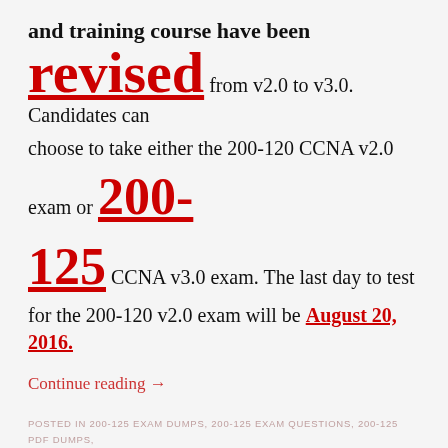and training course have been revised from v2.0 to v3.0. Candidates can choose to take either the 200-120 CCNA v2.0 exam or 200-125 CCNA v3.0 exam. The last day to test for the 200-120 v2.0 exam will be August 20, 2016.
Continue reading →
POSTED IN 200-125 EXAM DUMPS, 200-125 EXAM QUESTIONS, 200-125 PDF DUMPS, 200-125 VCE DUMPS, CISCO EXAM / TAGGED 200-125 BRAINDUMP, 200-125 CCNA EXAM, 200-125 DUMPS, 200-125 EXAM QUESTIONS, 200-125 PDF, 200-125 PRACTICE EXAM, 200-125 PRACTICE TEST, 200-125 STUDY GUIDE, 200-125 VCE, BRAINDUMP2GO /